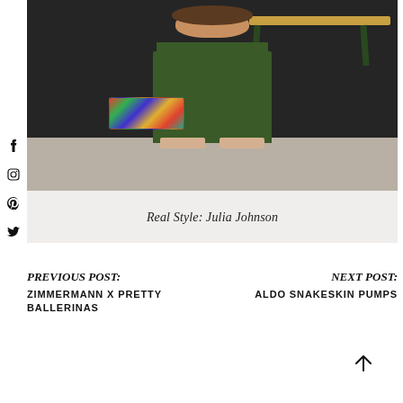[Figure (photo): Fashion photo of a woman wearing green cropped pants and heeled sandals, holding a colorful woven bag, standing in front of a dark wall with a wooden bench]
Real Style: Julia Johnson
PREVIOUS POST:
ZIMMERMANN X PRETTY BALLERINAS
NEXT POST:
ALDO SNAKESKIN PUMPS